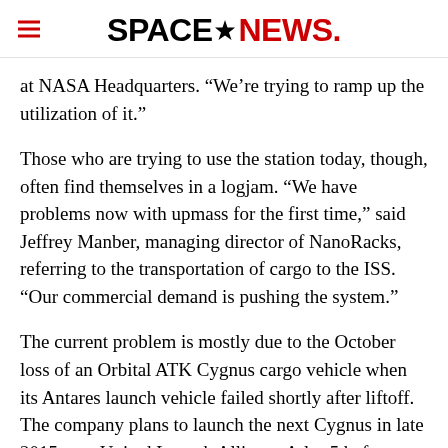SPACENEWS.
at NASA Headquarters. “We’re trying to ramp up the utilization of it.”
Those who are trying to use the station today, though, often find themselves in a logjam. “We have problems now with upmass for the first time,” said Jeffrey Manber, managing director of NanoRacks, referring to the transportation of cargo to the ISS. “Our commercial demand is pushing the system.”
The current problem is mostly due to the October loss of an Orbital ATK Cygnus cargo vehicle when its Antares launch vehicle failed shortly after liftoff. The company plans to launch the next Cygnus in late 2015 on a United Launch Alliance Atlas 5 before resuming launches in